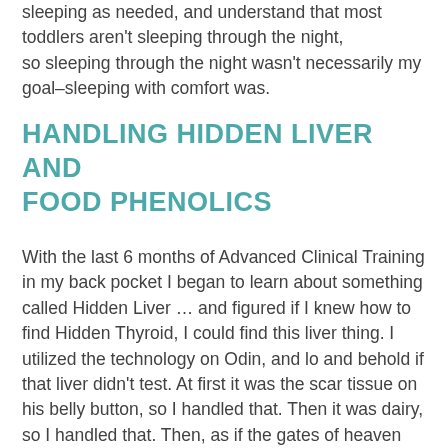sleeping as needed, and understand that most toddlers aren't sleeping through the night, so sleeping through the night wasn't necessarily my goal–sleeping with comfort was.
HANDLING HIDDEN LIVER AND FOOD PHENOLICS
With the last 6 months of Advanced Clinical Training in my back pocket I began to learn about something called Hidden Liver … and figured if I knew how to find Hidden Thyroid, I could find this liver thing. I utilized the technology on Odin, and lo and behold if that liver didn't test. At first it was the scar tissue on his belly button, so I handled that. Then it was dairy, so I handled that. Then, as if the gates of heaven had just opened, the food phenolics vial tested and along with